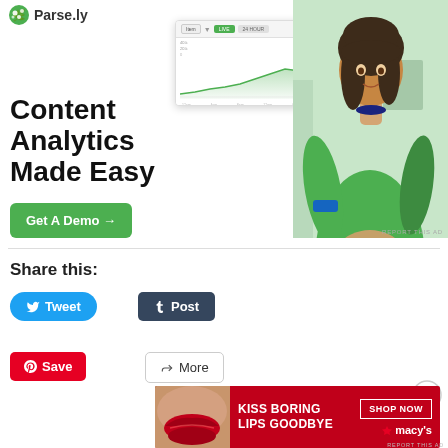[Figure (infographic): Parse.ly advertisement banner showing a dashboard screenshot, a woman in a green top, and the text 'Content Analytics Made Easy' with a green 'Get A Demo' button.]
REPORT THIS AD
Share this:
Tweet
Post
Save
More
Advertisements
[Figure (infographic): Macy's advertisement: red background with a woman's lips, text 'KISS BORING LIPS GOODBYE', 'SHOP NOW' button, and Macy's star logo.]
REPORT THIS AD